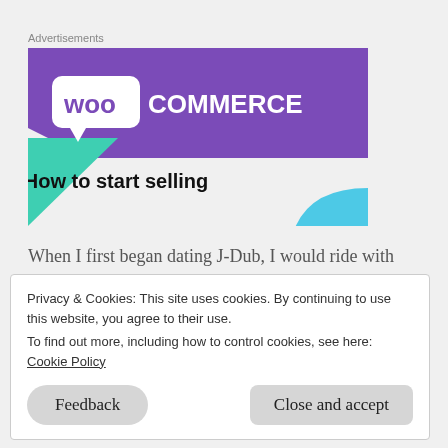Advertisements
[Figure (screenshot): WooCommerce advertisement banner with purple background, WooCommerce logo, teal and blue geometric shapes, and text 'How to start selling']
When I first began dating J-Dub, I would ride with
Privacy & Cookies: This site uses cookies. By continuing to use this website, you agree to their use.
To find out more, including how to control cookies, see here: Cookie Policy
Feedback
Close and accept